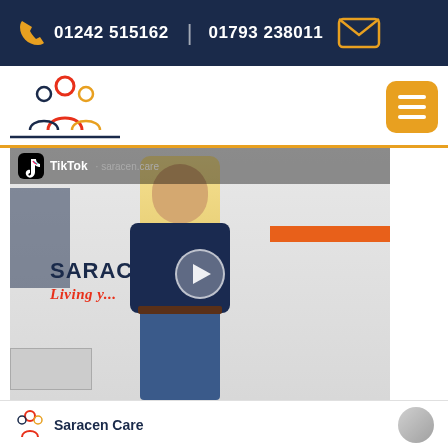01242 515162 | 01793 238011
[Figure (logo): Saracen Care company logo with people icon]
[Figure (photo): TikTok video embed showing a blonde woman standing in front of a Saracen Care branded wall with the text 'Living y...' visible. A play button overlay is shown.]
Saracen Care